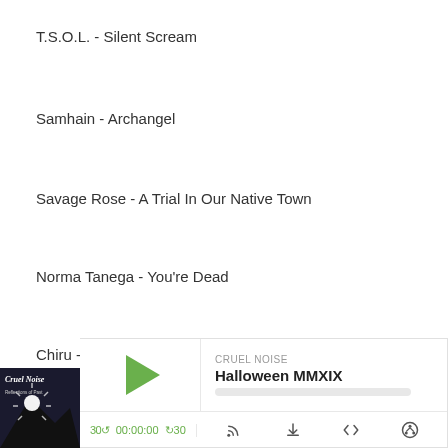T.S.O.L. - Silent Scream
Samhain - Archangel
Savage Rose - A Trial In Our Native Town
Norma Tanega - You're Dead
Chiru - Golimar(Indian Thriller)
Outro - Diary Of A Mass Murderer
[Figure (screenshot): Podcast player widget showing album art for 'Cruel Noise' with episode 'Halloween MMXIX', play button, progress bar, time display 00:00:00, skip back 30s and skip forward 30s controls, and icons for RSS, download, embed and share.]